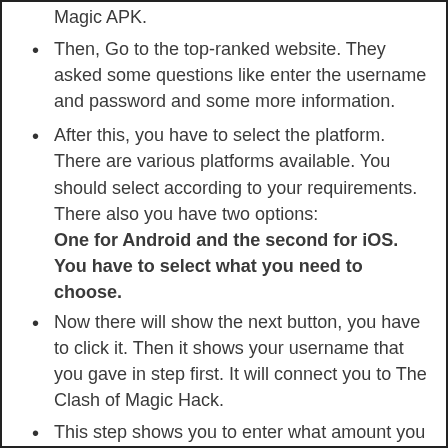Magic APK.
Then, Go to the top-ranked website. They asked some questions like enter the username and password and some more information.
After this, you have to select the platform. There are various platforms available. You should select according to your requirements. There also you have two options: One for Android and the second for iOS. You have to select what you need to choose.
Now there will show the next button, you have to click it. Then it shows your username that you gave in step first. It will connect you to The Clash of Magic Hack.
This step shows you to enter what amount you need for gold, gems, elixir. You fill the places according to your need and click on Generate button.